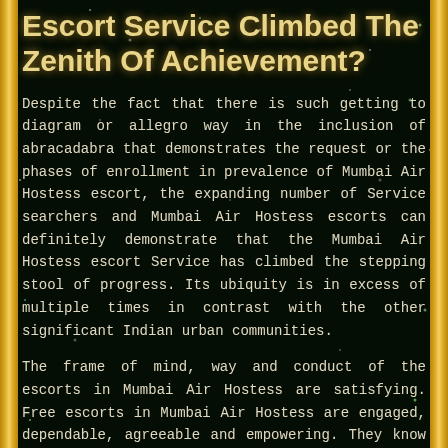Escort Service Climbed The Zenith Of Achievement?
Despite the fact that there is such getting to diagram or allegro way in the inclusion of abracadabra that demonstrates the request or the phases of enrollment in prevalence of Mumbai Air Hostess escort, the expanding number of Service searchers and Mumbai Air Hostess escorts can definitely demonstrate that the Mumbai Air Hostess escort Service has climbed the stepping stool of progress. Its ubiquity is in excess of multiple times in contrast with the other significant Indian urban communities.
The frame of mind, way and conduct of the escorts in Mumbai Air Hostess are satisfying. Free escorts in Mumbai Air Hostess are engaged, dependable, agreeable and empowering. They know propelled method for lovemaking and imaginative spoiling. There are a fit blend of dissimilar to Indian and outside escort Girls. Subsequently, one can treat in